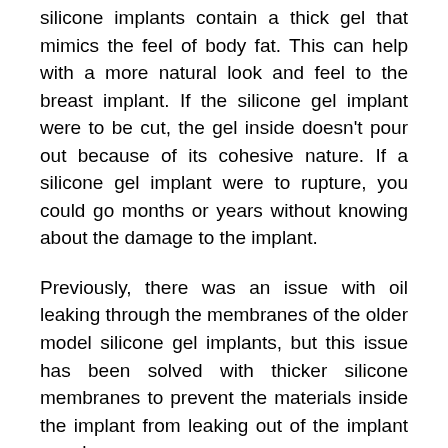silicone implants contain a thick gel that mimics the feel of body fat. This can help with a more natural look and feel to the breast implant. If the silicone gel implant were to be cut, the gel inside doesn't pour out because of its cohesive nature. If a silicone gel implant were to rupture, you could go months or years without knowing about the damage to the implant.
Previously, there was an issue with oil leaking through the membranes of the older model silicone gel implants, but this issue has been solved with thicker silicone membranes to prevent the materials inside the implant from leaking out of the implant membranes.